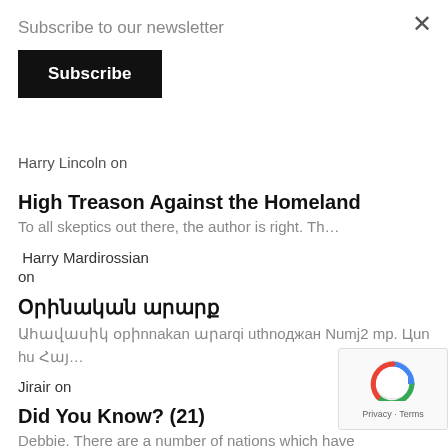Subscribe to our newsletter
Subscribe
Harry Lincoln on
High Treason Against the Homeland
To all skeptics out there, the author is right. Th…
Harry Mardirossian on
Օրինական արարք
Ահավասիկ օրինական արարքի ստhnoջան նmo2 մр. Цun hu Հայ…
Jirair on
Did You Know? (21)
Debbie. There are a number of nations which have